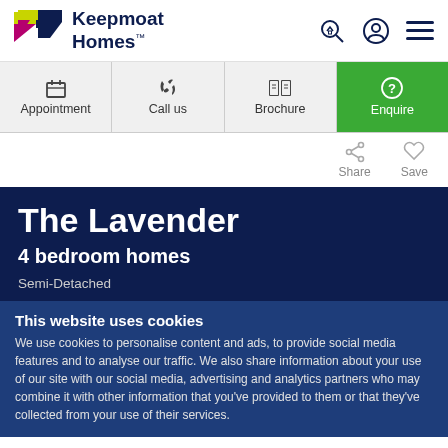Keepmoat Homes
[Figure (logo): Keepmoat Homes logo with yellow and magenta geometric K shape and dark blue text]
Appointment
Call us
Brochure
Enquire
Share
Save
The Lavender
4 bedroom homes
Semi-Detached
This website uses cookies
We use cookies to personalise content and ads, to provide social media features and to analyse our traffic. We also share information about your use of our site with our social media, advertising and analytics partners who may combine it with other information that you've provided to them or that they've collected from your use of their services.